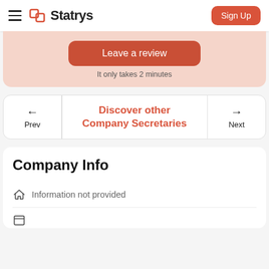Statrys — Sign Up
Leave a review
It only takes 2 minutes
Discover other Company Secretaries
Prev
Next
Company Info
Information not provided